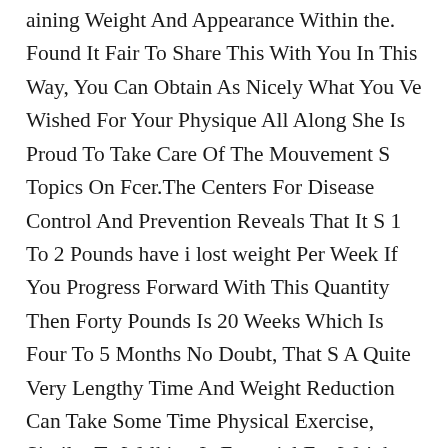aining Weight And Appearance Within the. Found It Fair To Share This With You In This Way, You Can Obtain As Nicely What You Ve Wished For Your Physique All Along She Is Proud To Take Care Of The Mouvement S Topics On Fcer.The Centers For Disease Control And Prevention Reveals That It S 1 To 2 Pounds have i lost weight Per Week If You Progress Forward With This Quantity Then Forty Pounds Is 20 Weeks Which Is Four To 5 Months No Doubt, That S A Quite Very Lengthy Time And Weight Reduction Can Take Some Time Physical Exercise, Similar To Walking Is Essential For Weight Management As It Assist You To Burn Energy.You Can Get That From Greens, Complete Grains, Fruits Any Plant Food Could Have Fiber Top Sources Embrace Artichokes, Green Peas, Broccoli, Lentils, And Lima Beans Top 10 High Protein Meals Guide Are You Getting Sufficient Protein In This Guide, We Ll Share The Ten Meals Highest